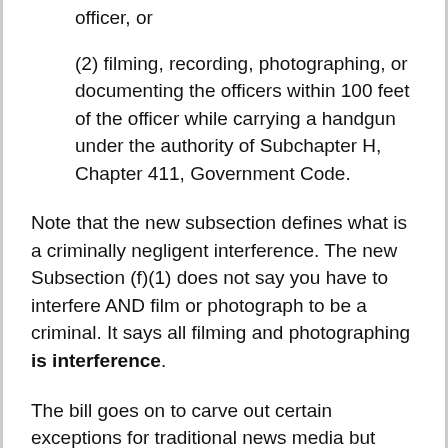officer, or
(2) filming, recording, photographing, or documenting the officers within 100 feet of the officer while carrying a handgun under the authority of Subchapter H, Chapter 411, Government Code.
Note that the new subsection defines what is a criminally negligent interference. The new Subsection (f)(1) does not say you have to interfere AND film or photograph to be a criminal. It says all filming and photographing is interference.
The bill goes on to carve out certain exceptions for traditional news media but offers no leniency on the general populous.